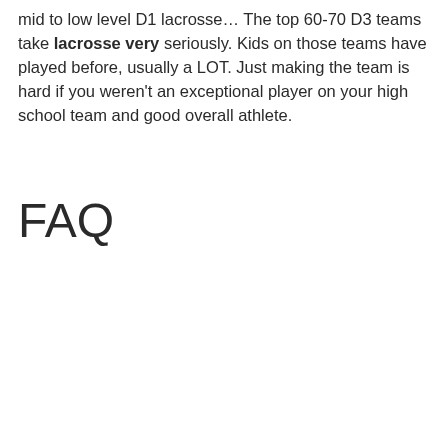mid to low level D1 lacrosse… The top 60-70 D3 teams take lacrosse very seriously. Kids on those teams have played before, usually a LOT. Just making the team is hard if you weren't an exceptional player on your high school team and good overall athlete.
FAQ